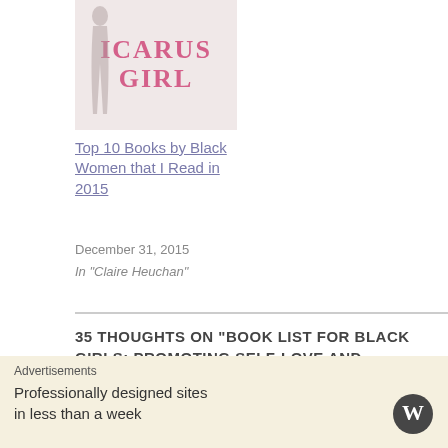[Figure (illustration): Book cover of 'Icarus Girl' showing text in pink/red letters on light background with a silhouette of a person]
Top 10 Books by Black Women that I Read in 2015
December 31, 2015
In “Claire Heuchan”
35 THOUGHTS ON “BOOK LIST FOR BLACK GIRLS: PROMOTING SELF-LOVE AND EMPOWERING YOUNG BLACK WOMEN”
ABAgail Dunn
LOG IN TO REPLY
January 5, 2016 at 21:58
Advertisements
Professionally designed sites in less than a week